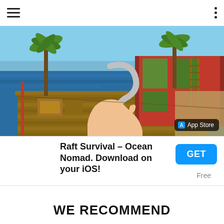Navigation bar with hamburger menu and options dots
[Figure (screenshot): In-game screenshot of Raft Survival showing a wooden raft floating in the ocean with palm trees, a red structure, and a player's hand holding a hook tool. App Store badge visible in bottom right.]
[Figure (illustration): App icon for Raft Survival - Ocean Nomad showing a shark in water with RAFT label]
Raft Survival – Ocean Nomad. Download on your iOS!
GET
Free
WE RECOMMEND